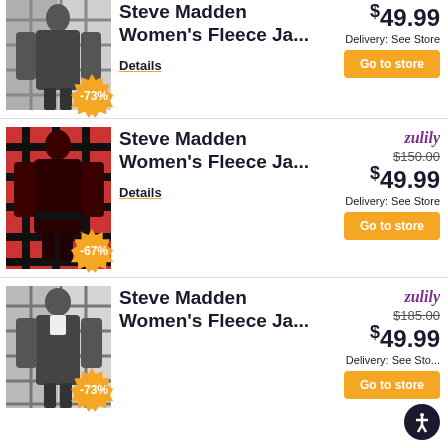[Figure (photo): Steve Madden Women's Fleece Jacket in black/white plaid pattern with -73% discount badge]
Steve Madden Women's Fleece Ja...
Details
$49.99
Delivery: See Store
Go to store
[Figure (photo): Steve Madden Women's Fleece Jacket in red/black plaid pattern with -67% discount badge]
Steve Madden Women's Fleece Ja...
Details
zulily
$150.00
$49.99
Delivery: See Store
Go to store
[Figure (photo): Steve Madden Women's Fleece Jacket in black/white plaid pattern with -73% discount badge]
Steve Madden Women's Fleece Ja...
zulily
$185.00
$49.99
Delivery: See Sto...